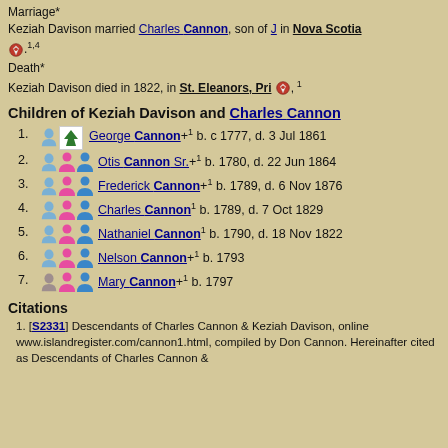Marriage* Keziah Davison married Charles Cannon, son of J in Nova Scotia .1,4
Death* Keziah Davison died in 1822, in St. Eleanors, Pri , 1
Children of Keziah Davison and Charles Cannon
1. George Cannon+1 b. c 1777, d. 3 Jul 1861
2. Otis Cannon Sr.+1 b. 1780, d. 22 Jun 1864
3. Frederick Cannon+1 b. 1789, d. 6 Nov 1876
4. Charles Cannon1 b. 1789, d. 7 Oct 1829
5. Nathaniel Cannon1 b. 1790, d. 18 Nov 1822
6. Nelson Cannon+1 b. 1793
7. Mary Cannon+1 b. 1797
Citations
1. [S2331] Descendants of Charles Cannon & Keziah Davison, online www.islandregister.com/cannon1.html, compiled by Don Cannon. Hereinafter cited as Descendants of Charles Cannon &